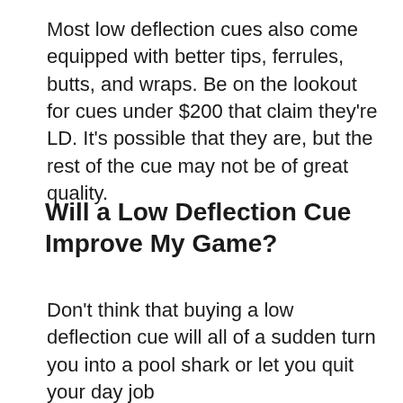Most low deflection cues also come equipped with better tips, ferrules, butts, and wraps. Be on the lookout for cues under $200 that claim they're LD. It's possible that they are, but the rest of the cue may not be of great quality.
Will a Low Deflection Cue Improve My Game?
Don't think that buying a low deflection cue will all of a sudden turn you into a pool shark or let you quit your day job